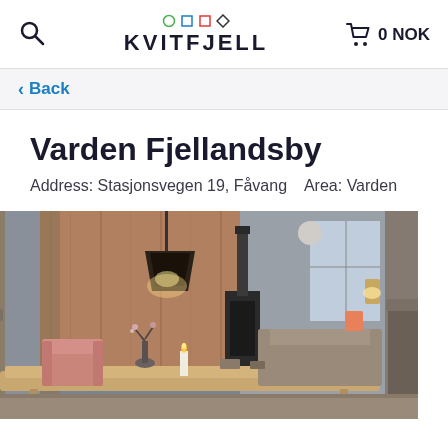KVITFJELL  0 NOK
< Back
Varden Fjellandsby
Address: Stasjonsvegen 19, Fåvang   Area: Varden
[Figure (photo): Interior of a mountain cabin/chalet showing a dining table in the foreground, pendant lamp, wooden walls, curtains, fireplace, and comfortable seating areas in the background.]